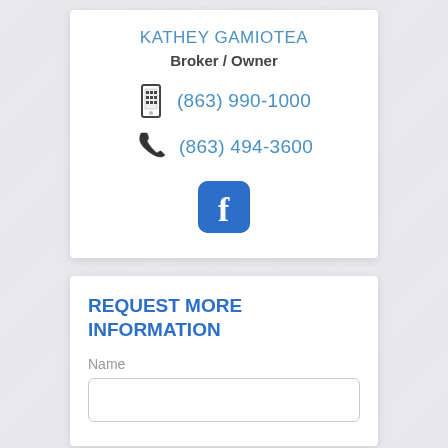KATHEY GAMIOTEA
Broker / Owner
(863) 990-1000
(863) 494-3600
[Figure (logo): Facebook logo icon — blue rounded square with white 'f']
REQUEST MORE INFORMATION
Name